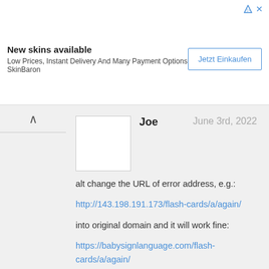[Figure (other): Advertisement banner: 'New skins available - Low Prices, Instant Delivery And Many Payment Options SkinBaron' with a 'Jetzt Einkaufen' button]
Joe	June 3rd, 2022

alt change the URL of error address, e.g.:

http://143.198.191.173/flash-cards/a/again/

into original domain and it will work fine:

https://babysignlanguage.com/flash-cards/a/again/